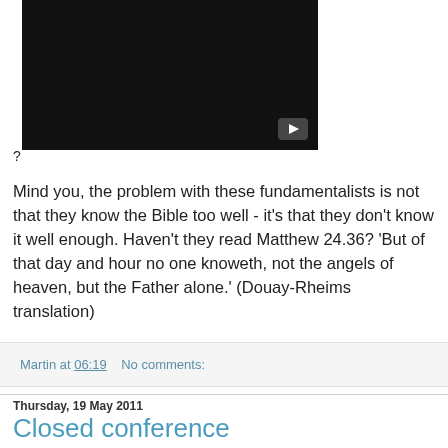[Figure (screenshot): Black video player thumbnail with a YouTube play button in the bottom right corner]
?
Mind you, the problem with these fundamentalists is not that they know the Bible too well - it's that they don't know it well enough. Haven't they read Matthew 24.36? 'But of that day and hour no one knoweth, not the angels of heaven, but the Father alone.' (Douay-Rheims translation)
Martin at 06:19    No comments:
Thursday, 19 May 2011
Closed conference